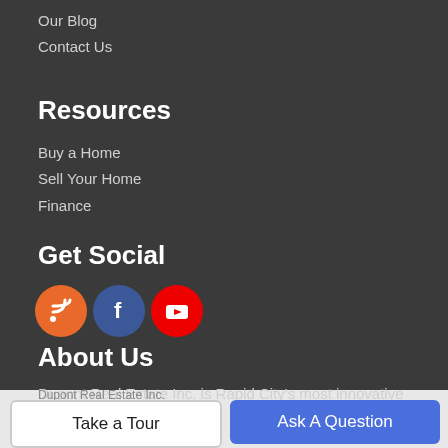Our Blog
Contact Us
Resources
Buy a Home
Sell Your Home
Finance
Get Social
[Figure (illustration): Three social media icon circles: RSS (orange), Facebook (blue), YouTube (red)]
About Us
Dupont Real Estate Inc. is Rapid City's most innovative real estate team.
Dupont Real Estate Inc.
Take a Tour
Ask A Question